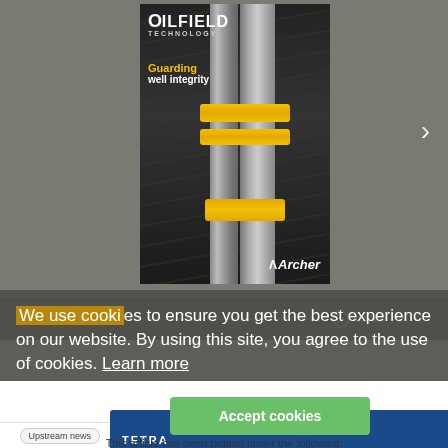[Figure (screenshot): Issuu magazine viewer showing Oilfield Technology magazine cover with drill pipes and yellow bands, Archer branding, page navigation showing 1/62, progress bar, and Issuu branding in bottom toolbar.]
We use cookies to ensure you get the best experience on our website. By using this site, you agree to the use of cookies. Learn more
[Figure (logo): TETRA logo on dark blue background]
Accept cookies
This article has been tagged under the following:
Upstream news
Seismic news
Exploration news
Offshore news